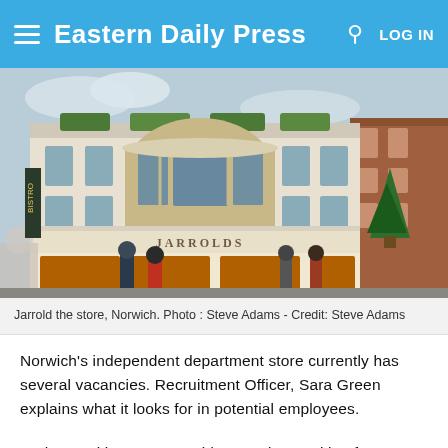Eastern Daily Press  LOG IN
[Figure (photo): Exterior photograph of Jarrolds department store in Norwich, a grand white curved building with pedestrians on the street below]
Jarrold the store, Norwich. Photo : Steve Adams - Credit: Steve Adams
Norwich's independent department store currently has several vacancies. Recruitment Officer, Sara Green explains what it looks for in potential employees.
• What positions are Jarrold currently recruiting for?